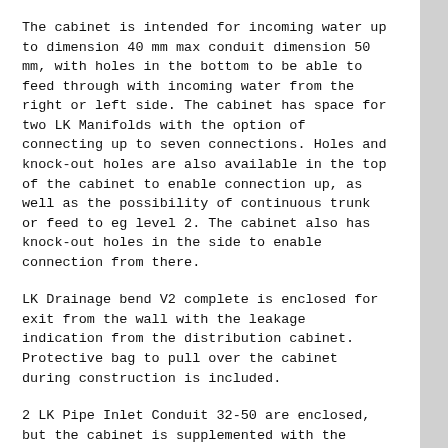The cabinet is intended for incoming water up to dimension 40 mm max conduit dimension 50 mm, with holes in the bottom to be able to feed through with incoming water from the right or left side. The cabinet has space for two LK Manifolds with the option of connecting up to seven connections. Holes and knock-out holes are also available in the top of the cabinet to enable connection up, as well as the possibility of continuous trunk or feed to eg level 2. The cabinet also has knock-out holes in the side to enable connection from there.
LK Drainage bend V2 complete is enclosed for exit from the wall with the leakage indication from the distribution cabinet. Protective bag to pull over the cabinet during construction is included.
2 LK Pipe Inlet Conduit 32-50 are enclosed, but the cabinet is supplemented with the required number of cabinet conduits. NOTE! Separate article:
For conduits pipes dimension 25, LK Pipe Inlet Conduit 25 is used, RSK 187 44 83.
For pipes dimension 12–34, use LK Pipe Inlet Conduit UNI, RSK 187 44 84.